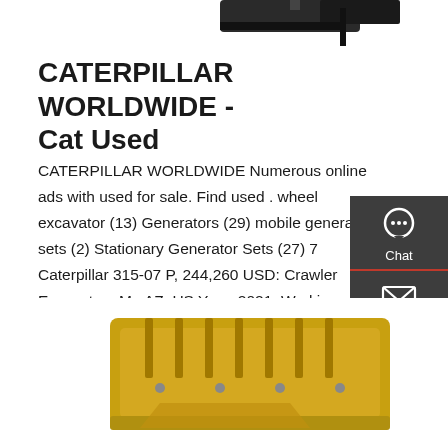[Figure (photo): Partial view of a dark/black Caterpillar machine component at the top of the page]
CATERPILLAR WORLDWIDE - Cat Used
CATERPILLAR WORLDWIDE Numerous online ads with used for sale. Find used . wheel excavator (13) Generators (29) mobile generator sets (2) Stationary Generator Sets (27) 7 Caterpillar 315-07 P, 244,260 USD: Crawler Excavators Me AZ, US Year: 2021, Working hours: 54 h EMPIRE MACHINERY
[Figure (screenshot): Sidebar panel with Chat, Email, and Contact icons on dark grey background]
[Figure (photo): Yellow/gold Caterpillar excavator bucket or attachment at the bottom of the page]